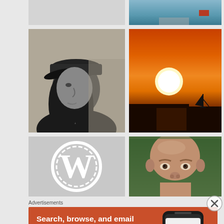[Figure (photo): Partial view of a white rectangular placeholder image (top left, cropped)]
[Figure (photo): Partial aerial/road photo with green landscape and red car (top right, cropped)]
[Figure (photo): Black and white profile portrait of a young woman wearing a cap, looking left]
[Figure (photo): Sunset photo with deep orange sky, large sun on horizon, silhouette of a sailboat]
[Figure (logo): WordPress logo (white W in circle) on light gray background, partially cropped at bottom]
[Figure (photo): Close-up photo of a bald older man's face with green foliage background]
Advertisements
[Figure (infographic): DuckDuckGo advertisement banner: orange background with text 'Search, browse, and email with more privacy. All in One Free App' and a phone mockup showing DuckDuckGo app]